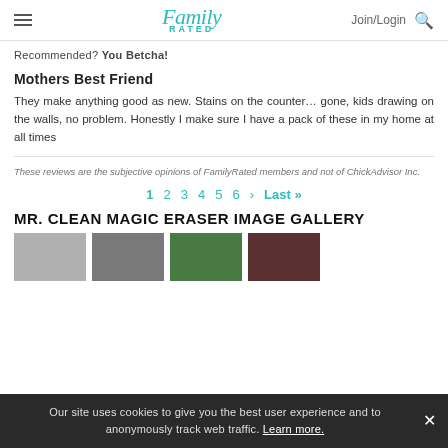Family Rated | Join/Login
Recommended? You Betcha!
Mothers Best Friend
They make anything good as new. Stains on the counter... gone, kids drawing on the walls, no problem. Honestly I make sure I have a pack of these in my home at all times
These reviews are the subjective opinions of FamilyRated members and not of ChickAdvisor Inc.
1 2 3 4 5 6 › Last »
MR. CLEAN MAGIC ERASER IMAGE GALLERY
[Figure (photo): Four thumbnail images from Mr. Clean Magic Eraser image gallery]
Our site uses cookies to give you the best user experience and to anonymously track web traffic. Learn more.